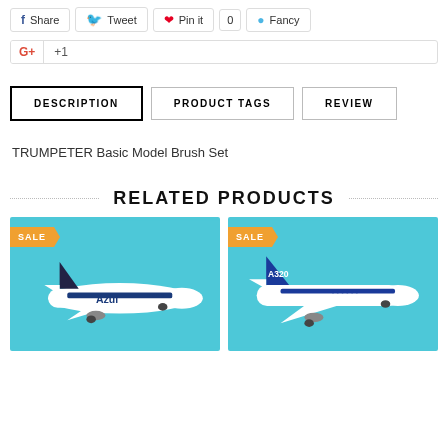Share  Tweet  Pin it  0  Fancy
G+ +1
DESCRIPTION  PRODUCT TAGS  REVIEW
TRUMPETER Basic Model Brush Set
RELATED PRODUCTS
[Figure (photo): Model airplane - Azul livery on blue background with SALE badge]
[Figure (photo): Model airplane - A320 Airbus livery on blue background with SALE badge]